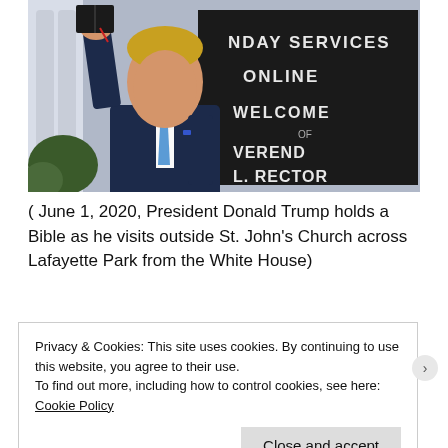[Figure (photo): President Donald Trump holding a Bible in front of a church sign reading 'NDAY SERVICES ONLINE WELCOME EVEREND L. RECTOR', wearing a dark navy suit with a light blue tie.]
( June 1, 2020, President Donald Trump holds a Bible as he visits outside St. John's Church across Lafayette Park from the White House)
Privacy & Cookies: This site uses cookies. By continuing to use this website, you agree to their use. To find out more, including how to control cookies, see here: Cookie Policy
Close and accept